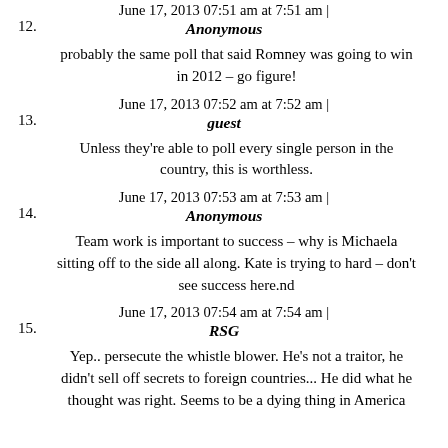12. June 17, 2013 07:51 am at 7:51 am | Anonymous
probably the same poll that said Romney was going to win in 2012 – go figure!
13. June 17, 2013 07:52 am at 7:52 am | guest
Unless they're able to poll every single person in the country, this is worthless.
14. June 17, 2013 07:53 am at 7:53 am | Anonymous
Team work is important to success – why is Michaela sitting off to the side all along. Kate is trying to hard – don't see success here.nd
15. June 17, 2013 07:54 am at 7:54 am | RSG
Yep.. persecute the whistle blower. He's not a traitor, he didn't sell off secrets to foreign countries... He did what he thought was right. Seems to be a dying thing in America